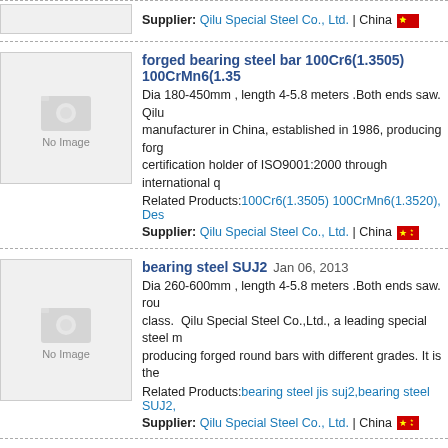[Figure (photo): No Image placeholder for forged bearing steel bar product]
forged bearing steel bar 100Cr6(1.3505) 100CrMn6(1.3... Dia 180-450mm , length 4-5.8 meters .Both ends saw. Qilu... manufacturer in China, established in 1986, producing forg... certification holder of ISO9001:2000 through international q... Related Products:100Cr6(1.3505) 100CrMn6(1.3520), Des... Supplier: Qilu Special Steel Co., Ltd. | China
[Figure (photo): No Image placeholder for bearing steel SUJ2 product]
bearing steel SUJ2 Jan 06, 2013 Dia 260-600mm , length 4-5.8 meters .Both ends saw. rou... class. Qilu Special Steel Co.,Ltd., a leading special steel m... producing forged round bars with different grades. It is the ... Related Products:bearing steel jis suj2,bearing steel SUJ2,... Supplier: Qilu Special Steel Co., Ltd. | China
[Figure (photo): No Image placeholder for Bearing Steel product]
Bearing Steel Jan 06, 2013 High Carbon chromium bearing steel, GB GCr15, AISI:E52... chromium bearing steel, GB GCr15, AISI:E52100, DIN:1.35... GCr15/E52100/SUJ2/1.35052,Specification: Dia:6.5mm-26... Related Products:bearing steel 52100,Bearing Steel, Descr... Supplier: Shanghai Minghe Metal Co., Ltd. | China